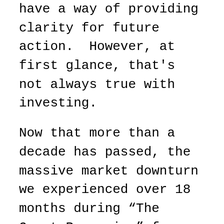History and distance from traumatic times have a way of providing clarity for future action.  However, at first glance, that's not always true with investing.
Now that more than a decade has passed, the massive market downturn we experienced over 18 months during “The Great Recession” from October, 2007 to March, 2009 appears to be a period that anyone and everyone should have been able to navigate in and out of successfully.
What we all forget with time, though, is that we didn’t experience that 18-month